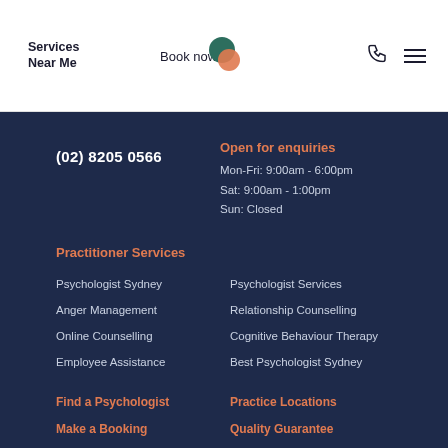Services Near Me | Book now
(02) 8205 0566
Open for enquiries
Mon-Fri: 9:00am - 6:00pm
Sat: 9:00am - 1:00pm
Sun: Closed
Practitioner Services
Psychologist Sydney
Psychologist Services
Anger Management
Relationship Counselling
Online Counselling
Cognitive Behaviour Therapy
Employee Assistance
Best Psychologist Sydney
Find a Psychologist
Practice Locations
Make a Booking
Quality Guarantee